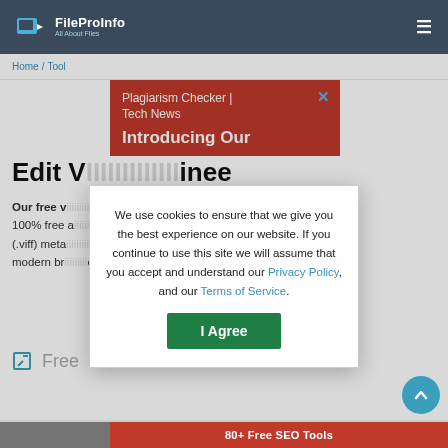FileProInfo All About Files
Home / Tool
[Figure (screenshot): Red popup banner showing 'Plagiarism Checker | Tech News' with an X close button and 'Introducing Our' text in white bold]
Edit VI... inee
Our free v... t required any registr... tem, 100% free a... format (.viff) meta... a modern br... ox.
Free
[Figure (screenshot): Cookie consent modal: 'We use cookies to ensure that we give you the best experience on our website. If you continue to use this site we will assume that you accept and understand our Privacy Policy, and our Terms of Service.' with an 'I Agree' green button]
80+ Free SEO Tools